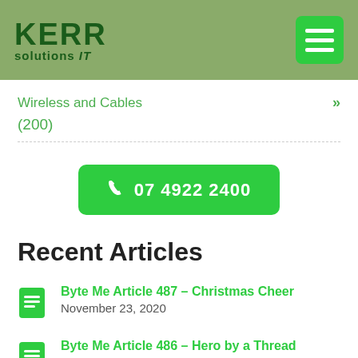KERR solutions IT
Wireless and Cables »
(200)
07 4922 2400
Recent Articles
Byte Me Article 487 – Christmas Cheer
November 23, 2020
Byte Me Article 486 – Hero by a Thread